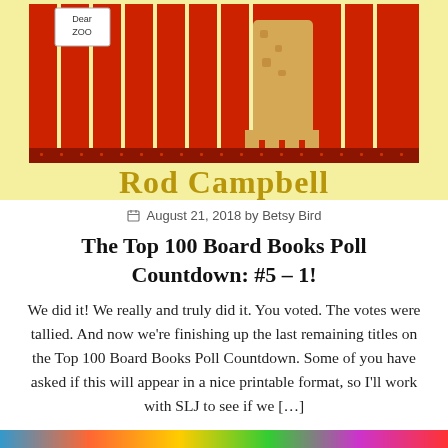[Figure (illustration): Book cover of 'Dear Zoo' by Rod Campbell showing red vertical fence/gate bars with an animal visible behind them peeking through, on a yellow background. The author's name 'Rod Campbell' is written at the bottom in large gold serif letters.]
August 21, 2018 by Betsy Bird
The Top 100 Board Books Poll Countdown: #5 – 1!
We did it! We really and truly did it. You voted. The votes were tallied. And now we're finishing up the last remaining titles on the Top 100 Board Books Poll Countdown. Some of you have asked if this will appear in a nice printable format, so I'll work with SLJ to see if we […]